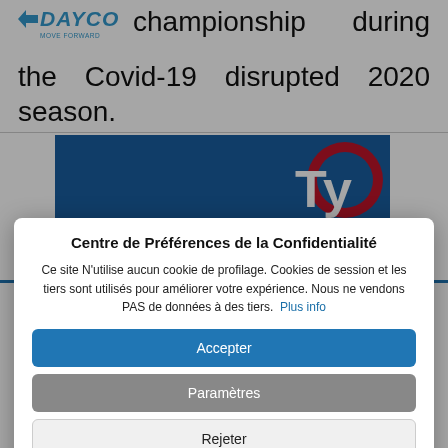championship during the Covid-19 disrupted 2020 season.
[Figure (photo): Race car with yellow and black Dayco livery on a racing track, with blue Tyres advertising board visible in background]
Centre de Préférences de la Confidentialité
Ce site N'utilise aucun cookie de profilage. Cookies de session et les tiers sont utilisés pour améliorer votre expérience. Nous ne vendons PAS de données à des tiers.  Plus info
Accepter
Paramètres
Rejeter
term Dayco Au